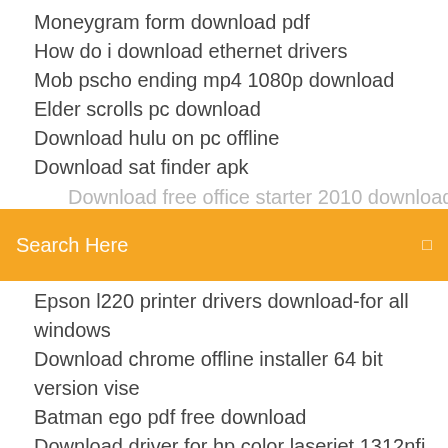Moneygram form download pdf
How do i download ethernet drivers
Mob pscho ending mp4 1080p download
Elder scrolls pc download
Download hulu on pc offline
Download sat finder apk
[Figure (screenshot): Orange search bar with placeholder text 'Search Here' and a small icon on the right]
Epson l220 printer drivers download-for all windows
Download chrome offline installer 64 bit version vise
Batman ego pdf free download
Download driver for hp color laserjet 1312nfi mfp
Apps wont update or download android
Pacemaker Music Download: Mit Pacemaker Music könnt ihr all eure Allerdings ist die App nur für Apples iPhone und iPad verfügbar. Das ist schade, denn auch unter Android-Geräten würde